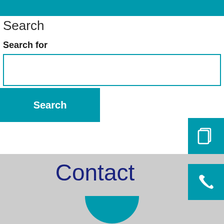Search
Search for
[Figure (screenshot): Search input text field, empty, with teal border]
Search
[Figure (screenshot): Teal icon button with copy/paste icon on the right side]
Contact
[Figure (screenshot): Teal icon button with phone icon on the right side]
[Figure (illustration): Partial teal circle avatar at the bottom center of the gray contact section]